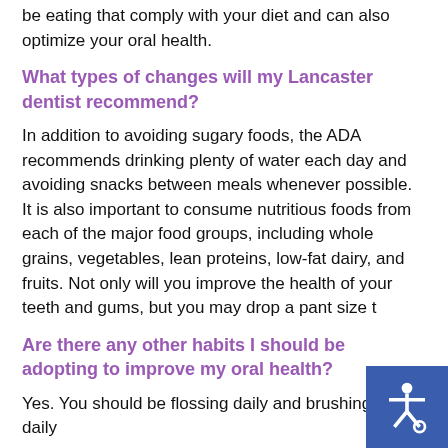be eating that comply with your diet and can also optimize your oral health.
What types of changes will my Lancaster dentist recommend?
In addition to avoiding sugary foods, the ADA recommends drinking plenty of water each day and avoiding snacks between meals whenever possible. It is also important to consume nutritious foods from each of the major food groups, including whole grains, vegetables, lean proteins, low-fat dairy, and fruits. Not only will you improve the health of your teeth and gums, but you may drop a pant size t
Are there any other habits I should be adopting to improve my oral health?
Yes. You should be flossing daily and brushing twice daily